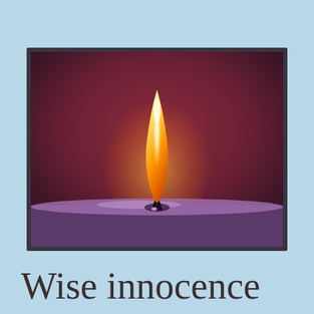[Figure (photo): Close-up photograph of a single candle flame burning on a purple candle against a dark reddish-brown background. The flame is tall and bright, glowing yellow-orange at the top and orange lower down, with a small dark wick visible at the base. The image is framed with a dark gray/charcoal border and a thin white inner border.]
Wise innocence